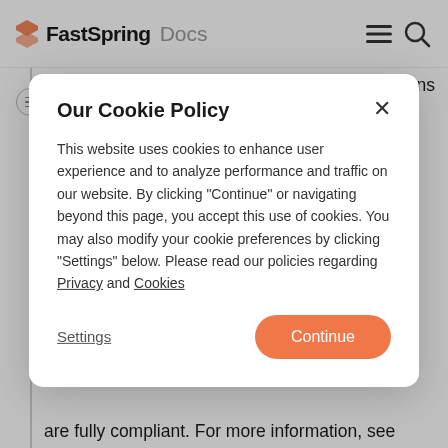FastSpring Docs
FastSpring complies with the rules and regulations in each state. For gift purchases, sales tax is calculated based on the location of the recipient rather than the purchaser so
Our Cookie Policy
This website uses cookies to enhance user experience and to analyze performance and traffic on our website. By clicking "Continue" or navigating beyond this page, you accept this use of cookies. You may also modify your cookie preferences by clicking "Settings" below. Please read our policies regarding Privacy and Cookies
Settings
Continue
are fully compliant. For more information, see